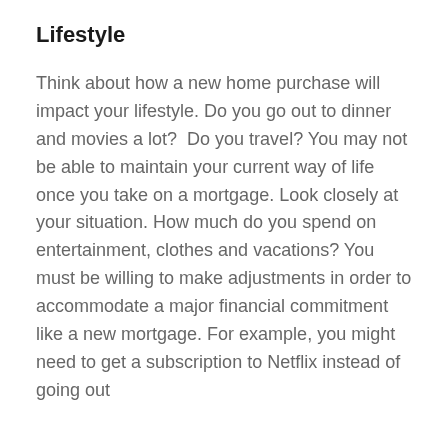Lifestyle
Think about how a new home purchase will impact your lifestyle. Do you go out to dinner and movies a lot?  Do you travel? You may not be able to maintain your current way of life once you take on a mortgage. Look closely at your situation. How much do you spend on entertainment, clothes and vacations? You must be willing to make adjustments in order to accommodate a major financial commitment like a new mortgage. For example, you might need to get a subscription to Netflix instead of going out